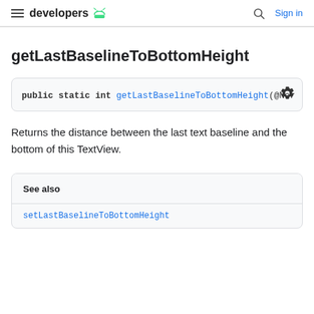developers [android logo] | Sign in
getLastBaselineToBottomHeight
public static int getLastBaselineToBottomHeight(@Nor
Returns the distance between the last text baseline and the bottom of this TextView.
See also
setLastBaselineToBottomHeight